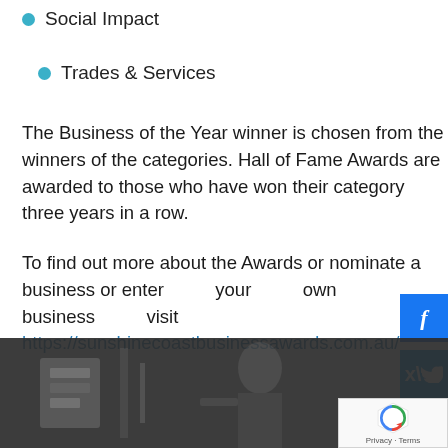Social Impact
Trades & Services
The Business of the Year winner is chosen from the winners of the categories. Hall of Fame Awards are awarded to those who have won their category three years in a row.
To find out more about the Awards or nominate a business or enter your own business visit https://sunshinecoastbusinessawards.com.au/
[Figure (other): Dark photo of a person working in what appears to be a workshop or mechanical setting]
Privacy · Terms